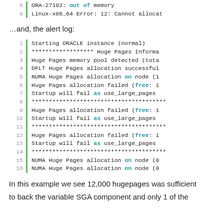[Figure (screenshot): Code block showing lines 8-9 with ORA-27102 out of memory error and Linux-x86_64 error]
…and, the alert log:
[Figure (screenshot): Code block showing lines 1-16 of Oracle alert log with Huge Pages allocation failures, NUMA node messages, and startup failure warnings]
In this example we see 12,000 hugepages was sufficient to back the variable SGA component and only 1 of the